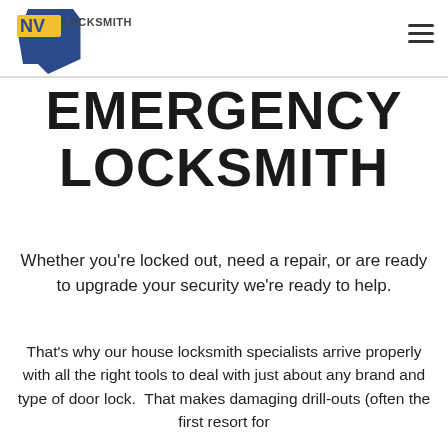[Figure (logo): NV Locksmith logo with blue Nevada state shape and yellow NV text with LOCKSMITH text]
EMERGENCY LOCKSMITH
Whether you’re locked out, need a repair, or are ready to upgrade your security we’re ready to help.
That’s why our house locksmith specialists arrive properly with all the right tools to deal with just about any brand and type of door lock.  That makes damaging drill-outs (often the first resort for